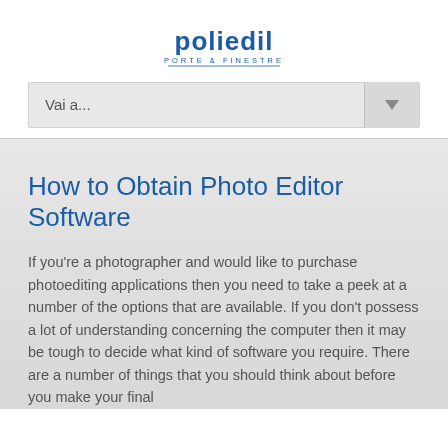[Figure (logo): Poliedil logo with tagline PORTE & FINESTRE in blue and dark blue text]
Vai a...
How to Obtain Photo Editor Software
If you're a photographer and would like to purchase photoediting applications then you need to take a peek at a number of the options that are available. If you don't possess a lot of understanding concerning the computer then it may be tough to decide what kind of software you require. There are a number of things that you should think about before you make your final